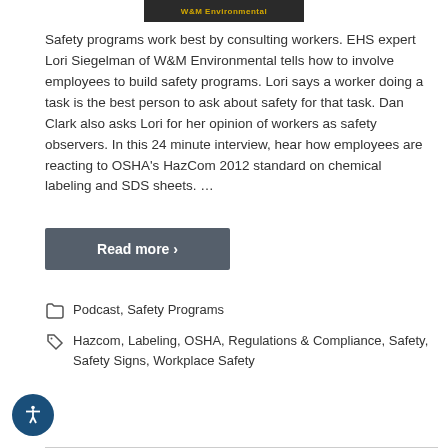[Figure (screenshot): W&M Environmental banner/thumbnail image at top of page]
Safety programs work best by consulting workers. EHS expert Lori Siegelman of W&M Environmental tells how to involve employees to build safety programs. Lori says a worker doing a task is the best person to ask about safety for that task. Dan Clark also asks Lori for her opinion of workers as safety observers. In this 24 minute interview, hear how employees are reacting to OSHA's HazCom 2012 standard on chemical labeling and SDS sheets. …
Read more ›
Podcast, Safety Programs
Hazcom, Labeling, OSHA, Regulations & Compliance, Safety, Safety Signs, Workplace Safety